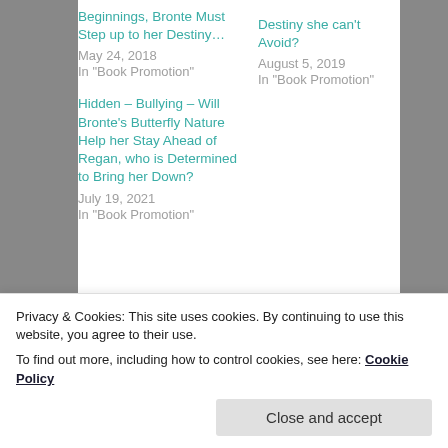Beginnings, Bronte Must Step up to her Destiny…
May 24, 2018
In "Book Promotion"
Destiny she can't Avoid?
August 5, 2019
In "Book Promotion"
Hidden – Bullying – Will Bronte's Butterfly Nature Help her Stay Ahead of Regan, who is Determined to Bring her Down?
July 19, 2021
In "Book Promotion"
Privacy & Cookies: This site uses cookies. By continuing to use this website, you agree to their use.
To find out more, including how to control cookies, see here: Cookie Policy